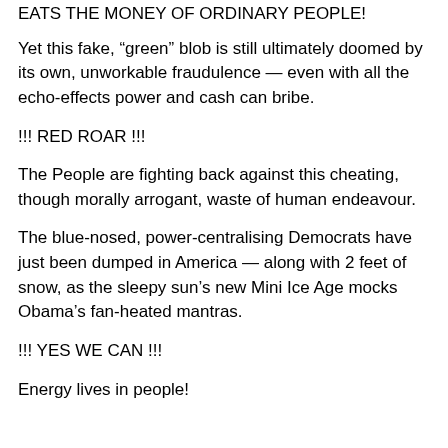EATS THE MONEY OF ORDINARY PEOPLE!
Yet this fake, “green” blob is still ultimately doomed by its own, unworkable fraudulence — even with all the echo-effects power and cash can bribe.
!!! RED ROAR !!!
The People are fighting back against this cheating, though morally arrogant, waste of human endeavour.
The blue-nosed, power-centralising Democrats have just been dumped in America — along with 2 feet of snow, as the sleepy sun’s new Mini Ice Age mocks Obama’s fan-heated mantras.
!!! YES WE CAN !!!
Energy lives in people!